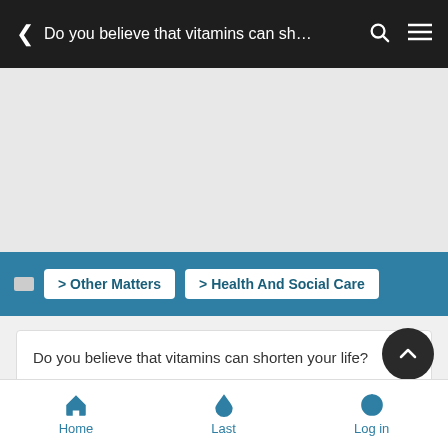< Do you believe that vitamins can sh…
[Figure (screenshot): Gray advertisement/content placeholder area]
> Other Matters  > Health And Social Care
Do you believe that vitamins can shorten your life?
7 posters
Home  Last  Log in